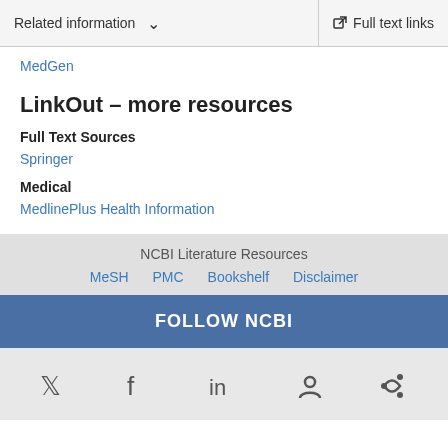Related information  ∨    Full text links
MedGen
LinkOut – more resources
Full Text Sources
Springer
Medical
MedlinePlus Health Information
NCBI Literature Resources  MeSH  PMC  Bookshelf  Disclaimer
FOLLOW NCBI